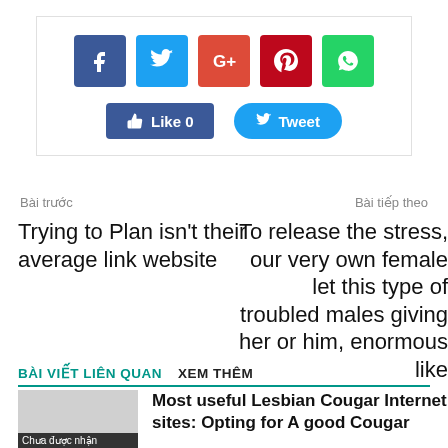[Figure (other): Social media share buttons box with Facebook, Twitter, Google+, Pinterest, WhatsApp icons and Like/Tweet action buttons]
Bài trước
Bài tiếp theo
Trying to Plan isn't their average link website
To release the stress, our very own female let this type of troubled males giving her or him, enormous like
BÀI VIẾT LIÊN QUAN    XEM THÊM
Most useful Lesbian Cougar Internet sites: Opting for A good Cougar
Chưa được nhận